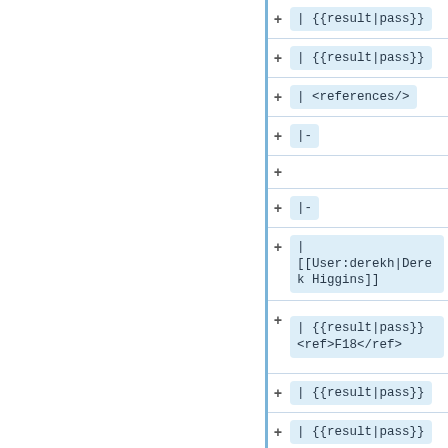+ | {{result|pass}}
+ | {{result|pass}}
+ | <references/>
+ |-
+
+ |-
+ | [[User:derekh|Derek Higgins]]
+ | {{result|pass}} <ref>F18</ref>
+ | {{result|pass}}
+ | {{result|pass}}
+ | {{result|pass}}
+ | <references/>
+ |-